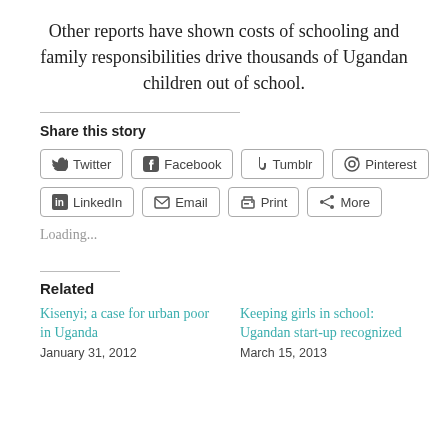Other reports have shown costs of schooling and family responsibilities drive thousands of Ugandan children out of school.
Share this story
[Figure (other): Share buttons row 1: Twitter, Facebook, Tumblr, Pinterest]
[Figure (other): Share buttons row 2: LinkedIn, Email, Print, More]
Loading...
Related
Kisenyi; a case for urban poor in Uganda
January 31, 2012
Keeping girls in school: Ugandan start-up recognized
March 15, 2013